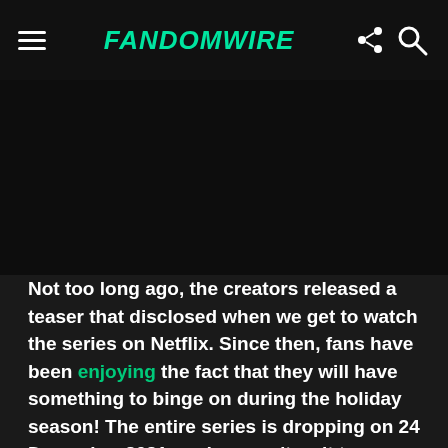FandomWire
[Figure (photo): Dark/black image area below the navigation bar]
Not too long ago, the creators released a teaser that disclosed when we get to watch the series on Netflix. Since then, fans have been enjoying the fact that they will have something to binge on during the holiday season! The entire series is dropping on 24 December 2021, and we can't wait to see what it has in store for us!